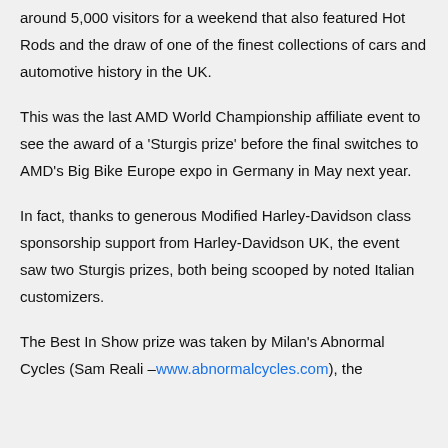around 5,000 visitors for a weekend that also featured Hot Rods and the draw of one of the finest collections of cars and automotive history in the UK.
This was the last AMD World Championship affiliate event to see the award of a 'Sturgis prize' before the final switches to AMD's Big Bike Europe expo in Germany in May next year.
In fact, thanks to generous Modified Harley-Davidson class sponsorship support from Harley-Davidson UK, the event saw two Sturgis prizes, both being scooped by noted Italian customizers.
The Best In Show prize was taken by Milan's Abnormal Cycles (Sam Reali – www.abnormalcycles.com), the